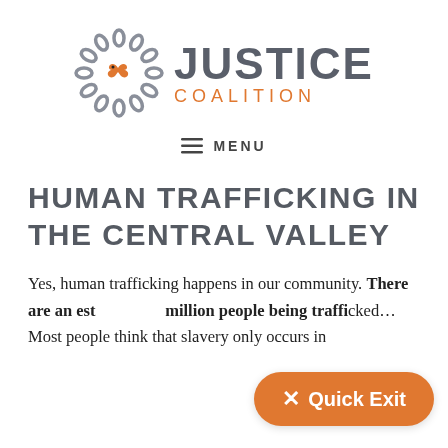[Figure (logo): Justice Coalition logo: chain-link circle with orange bird in center, text JUSTICE in gray bold uppercase with COALITION in orange spaced letters beneath]
≡ MENU
HUMAN TRAFFICKING IN THE CENTRAL VALLEY
Yes, human trafficking happens in our community. There are an estimated 21 million people being trafficked… Most people think that slavery only occurs in
[Figure (other): Orange pill-shaped Quick Exit button with × symbol and text 'Quick Exit']